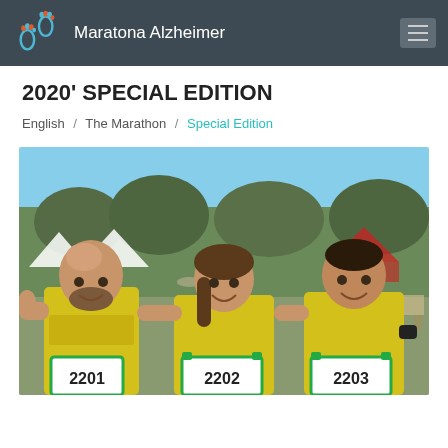Maratona Alzheimer
2020' SPECIAL EDITION
English / The Marathon / Special Edition
[Figure (photo): Three runners in yellow Maratona Alzheimer t-shirts smiling and posing together at an outdoor event. Left person is a bald man with a beard giving thumbs up, wearing bib number 2201. Center is a woman smiling, wearing bib number 2202. Right is a man smiling, wearing bib number 2203. Background shows tents and green trees.]